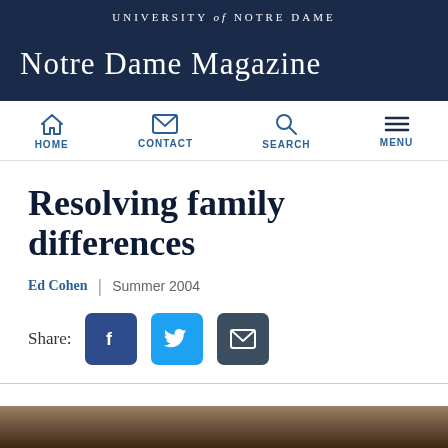UNIVERSITY of NOTRE DAME
Notre Dame Magazine
[Figure (other): Navigation bar with icons: HOME (house icon), CONTACT (envelope icon), SEARCH (magnifying glass icon), MENU (hamburger icon)]
Resolving family differences
Ed Cohen | Summer 2004
[Figure (other): Share buttons: Facebook (blue square with f), Twitter (cyan square with bird), Email (dark square with envelope)]
[Figure (photo): Partial photo visible at bottom of page]